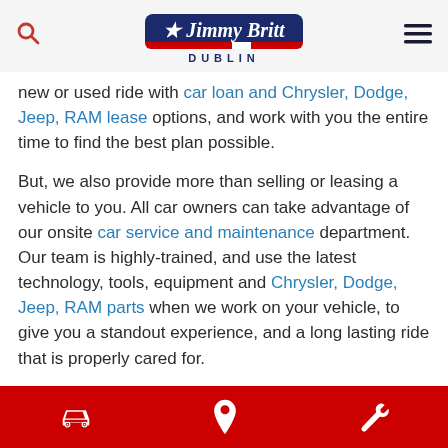Jimmy Britt Dublin
new or used ride with car loan and Chrysler, Dodge, Jeep, RAM lease options, and work with you the entire time to find the best plan possible.
But, we also provide more than selling or leasing a vehicle to you. All car owners can take advantage of our onsite car service and maintenance department. Our team is highly-trained, and use the latest technology, tools, equipment and Chrysler, Dodge, Jeep, RAM parts when we work on your vehicle, to give you a standout experience, and a long lasting ride that is properly cared for.
[car icon] [location icon] [wrench icon]